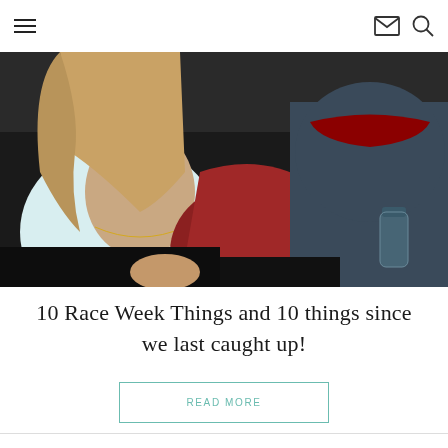Navigation header with hamburger menu, email icon, and search icon
[Figure (photo): Close-up photo of two people sitting side by side. On the left is a woman with long blonde hair wearing a white tank top with a gold necklace and bracelet. On the right is a person wearing a dark navy/gray raglan shirt with red sleeves, holding a water bottle.]
10 Race Week Things and 10 things since we last caught up!
READ MORE